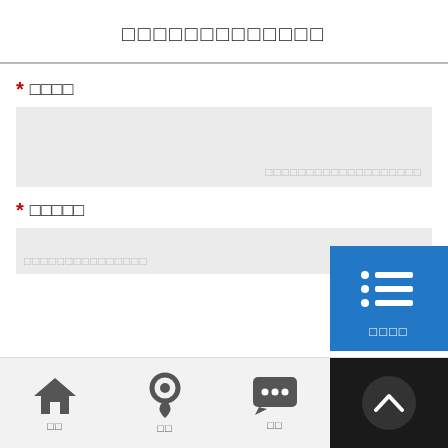□□□□□□□□□□□□□
* □□□□
□□□□□□□□□□□□□□□□□□□
* □□□□□
□□□□□□□□□□□□□□□
[Figure (infographic): Blue panel with list icon (bullet list SVG icon) and label text □□□□]
[Figure (infographic): Bottom navigation bar with home icon (□□), location pin icon (□□), and chat bubble icon (□□), plus dark back-to-top chevron button]